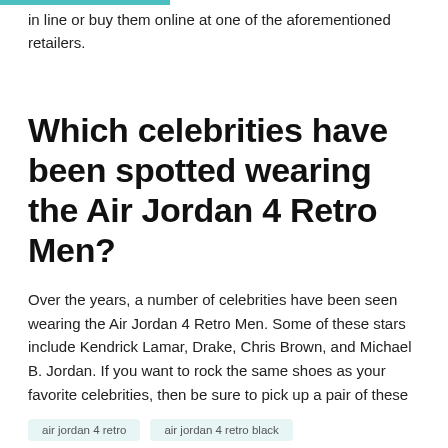in line or buy them online at one of the aforementioned retailers.
Which celebrities have been spotted wearing the Air Jordan 4 Retro Men?
Over the years, a number of celebrities have been seen wearing the Air Jordan 4 Retro Men. Some of these stars include Kendrick Lamar, Drake, Chris Brown, and Michael B. Jordan. If you want to rock the same shoes as your favorite celebrities, then be sure to pick up a pair of these sneakers before they sell out.
air jordan 4 retro   air jordan 4 retro black